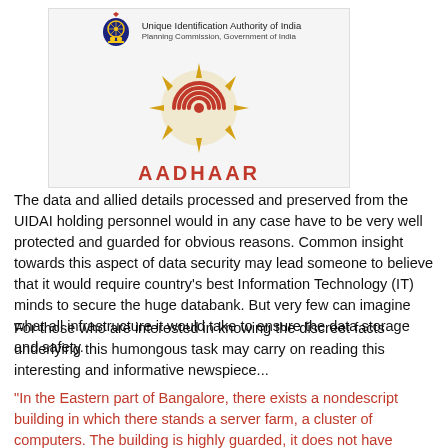[Figure (logo): Aadhaar logo with UIDAI emblem and text 'Unique Identification Authority of India, Planning Commission, Government of India' and the Aadhaar fingerprint/sun symbol with red arcs, and text AADHAAR in red bold letters]
The data and allied details processed and preserved from the UIDAI holding personnel would in any case have to be very well protected and guarded for obvious reasons. Common insight towards this aspect of data security may lead someone to believe that it would require country's best Information Technology (IT) minds to secure the huge databank. But very few can imagine what all infrastructure it would take to ensure the data storage and safety.
For those who are interested in knowing the discreet facts underlying this humongous task may carry on reading this interesting and informative newspiece...
"In the Eastern part of Bangalore, there exists a nondescript building in which there stands a server farm, a cluster of computers. The building is highly guarded, it does not have